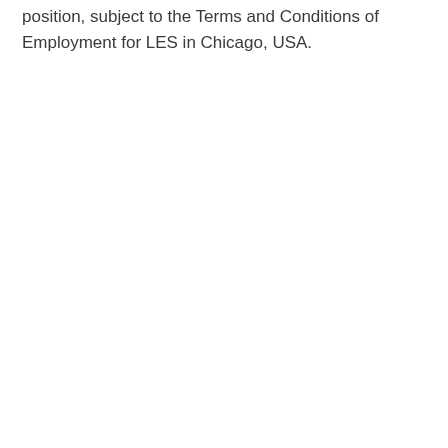position, subject to the Terms and Conditions of Employment for LES in Chicago, USA.